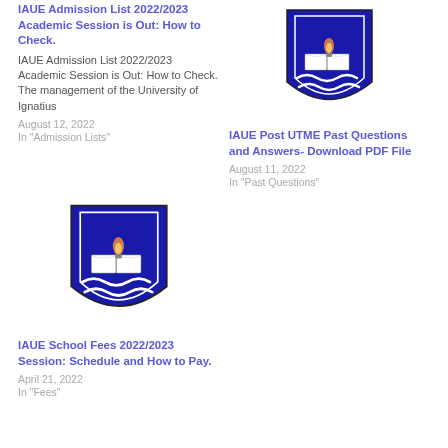[Figure (logo): IAUE university shield/crest logo - blue shield with open book, flame, and wavy lines]
IAUE Admission List 2022/2023 Academic Session is Out: How to Check.
IAUE Admission List 2022/2023 Academic Session is Out: How to Check. The management of the University of Ignatius
August 12, 2022
In "Admission Lists"
[Figure (logo): IAUE university shield/crest logo - blue shield with open book, flame, and wavy lines]
IAUE Post UTME Past Questions and Answers- Download PDF File
August 11, 2022
In "Past Questions"
[Figure (logo): IAUE university shield/crest logo - blue shield with open book, flame, and wavy lines]
IAUE School Fees 2022/2023 Session: Schedule and How to Pay.
April 21, 2022
In "Fees"